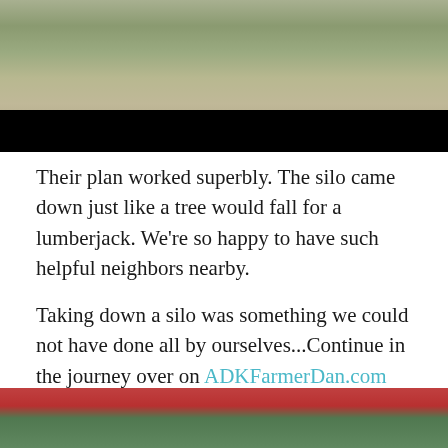[Figure (photo): Outdoor photo showing stone/log structure with green grass and dirt ground, top portion of page]
Their plan worked superbly. The silo came down just like a tree would fall for a lumberjack. We're so happy to have such helpful neighbors nearby.
Taking down a silo was something we could not have done all by ourselves...Continue in the journey over on ADKFarmerDan.com
[Figure (photo): Bottom partial photo showing red barn roof edge and green trees in background]